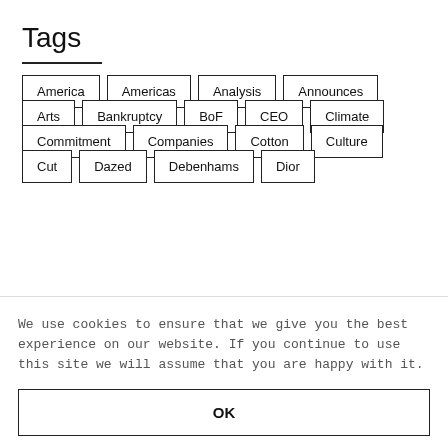Tags
America
Americas
Analysis
Announces
Arts
Bankruptcy
BoF
CEO
Climate
Commitment
Companies
Cotton
Culture
Cut
Dazed
Debenhams
Dior
We use cookies to ensure that we give you the best experience on our website. If you continue to use this site we will assume that you are happy with it.
OK